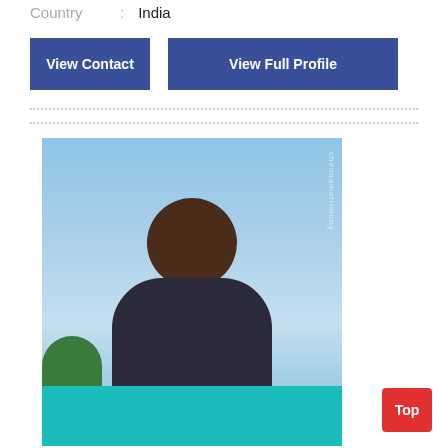Country : India
View Contact
View Full Profile
[Figure (photo): Profile photo of an Indian man wearing a dark navy t-shirt with text, photographed outdoors against a blue sky background with greenery and a teal surface visible at the bottom. A watermark reading 'chennamatrimony' is visible on the right side.]
Top